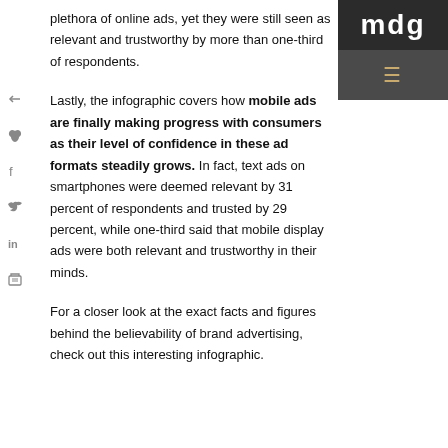plethora of online ads, yet they were still seen as relevant and trustworthy by more than one-third of respondents.
Lastly, the infographic covers how mobile ads are finally making progress with consumers as their level of confidence in these ad formats steadily grows. In fact, text ads on smartphones were deemed relevant by 31 percent of respondents and trusted by 29 percent, while one-third said that mobile display ads were both relevant and trustworthy in their minds.
For a closer look at the exact facts and figures behind the believability of brand advertising, check out this interesting infographic.
[Figure (logo): MDG logo - dark square with letters mdg in white, with a dark grey panel below containing a hamburger/menu icon in gold/tan color]